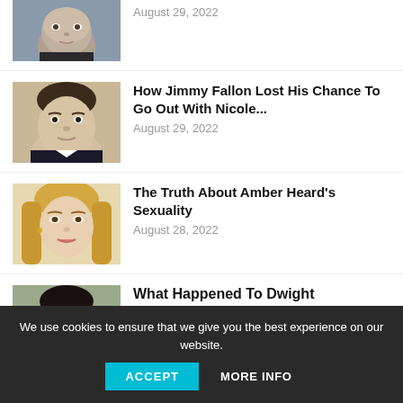[Figure (photo): Partial view of a man's face, cropped at top, dark suit and tie]
August 29, 2022
[Figure (photo): Jimmy Fallon headshot, man in dark suit looking at camera]
How Jimmy Fallon Lost His Chance To Go Out With Nicole...
August 29, 2022
[Figure (photo): Amber Heard headshot, blonde woman looking at camera]
The Truth About Amber Heard's Sexuality
August 28, 2022
[Figure (photo): Partial headshot of a person, cropped at bottom by cookie bar]
What Happened To Dwight
We use cookies to ensure that we give you the best experience on our website.